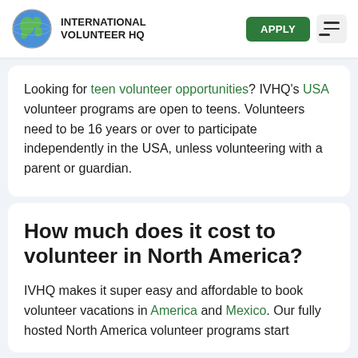INTERNATIONAL VOLUNTEER HQ
Looking for teen volunteer opportunities? IVHQ's USA volunteer programs are open to teens. Volunteers need to be 16 years or over to participate independently in the USA, unless volunteering with a parent or guardian.
How much does it cost to volunteer in North America?
IVHQ makes it super easy and affordable to book volunteer vacations in America and Mexico. Our fully hosted North America volunteer programs start